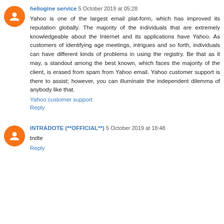heliogine service 5 October 2019 at 05:28
Yahoo is one of the largest email plat-form, which has improved its reputation globally. The majority of the individuals that are extremely knowledgeable about the Internet and its applications have Yahoo. As customers of identifying age meetings, intrigues and so forth, individuals can have different kinds of problems in using the registry. Be that as it may, a standout among the best known, which faces the majority of the client, is erased from spam from Yahoo email. Yahoo customer support is there to assist; however, you can illuminate the independent dilemma of anybody like that.
Yahoo customer support
Reply
INTRADOTE (**OFFICIAL**) 5 October 2019 at 18:48
tndte
Reply